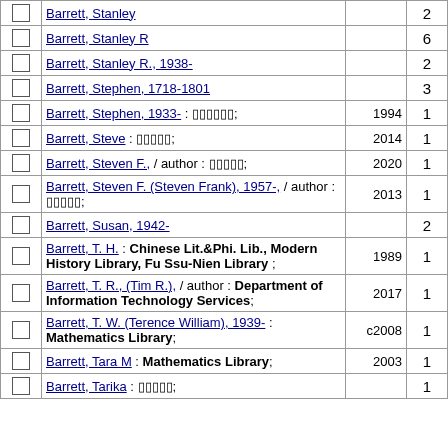|  | Name | Year | Count |
| --- | --- | --- | --- |
| ☐ | Barrett, Stanley |  | 2 |
| ☐ | Barrett, Stanley R |  | 6 |
| ☐ | Barrett, Stanley R., 1938- |  | 2 |
| ☐ | Barrett, Stephen, 1718-1801 |  | 3 |
| ☐ | Barrett, Stephen, 1933- : [symbols]; | 1994 | 1 |
| ☐ | Barrett, Steve : [symbols]; | 2014 | 1 |
| ☐ | Barrett, Steven F., / author : [symbols]; | 2020 | 1 |
| ☐ | Barrett, Steven F. (Steven Frank), 1957-, / author : [symbols]; | 2013 | 1 |
| ☐ | Barrett, Susan, 1942- |  | 2 |
| ☐ | Barrett, T. H. : Chinese Lit.&Phi. Lib., Modern History Library, Fu Ssu-Nien Library ; | 1989 | 1 |
| ☐ | Barrett, T. R., (Tim R.), / author : Department of Information Technology Services; | 2017 | 1 |
| ☐ | Barrett, T. W. (Terence William), 1939- : Mathematics Library; | c2008 | 1 |
| ☐ | Barrett, Tara M : Mathematics Library; | 2003 | 1 |
| ☐ | Barrett, Tarika : [symbols]; |  | 1 |